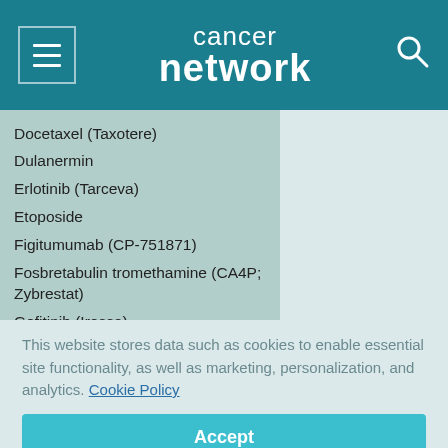cancer network
Docetaxel (Taxotere)
Dulanermin
Erlotinib (Tarceva)
Etoposide
Figitumumab (CP-751871)
Fosbretabulin tromethamine (CA4P; Zybrestat)
Gefitinib (Iressa)
Gemcitabine (Gemzar)
Ifosfamide
Ipilimumab (MDX-010)
This website stores data such as cookies to enable essential site functionality, as well as marketing, personalization, and analytics. Cookie Policy
Accept
Deny